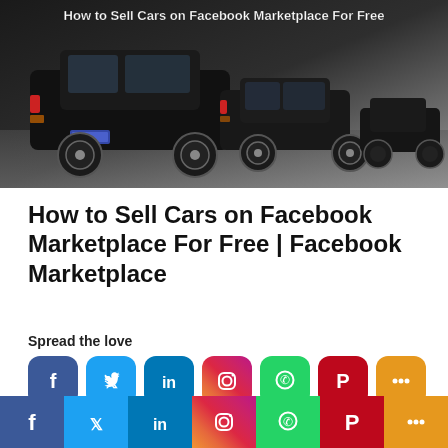[Figure (photo): Hero image showing a row of black cars parked, viewed from behind, with a text overlay reading 'How to Sell Cars on Facebook Marketplace For Free']
How to Sell Cars on Facebook Marketplace For Free | Facebook Marketplace
Spread the love
[Figure (infographic): Row of social media share buttons: Facebook (blue), Twitter (light blue), LinkedIn (dark blue), Instagram (gradient), WhatsApp (green), Pinterest (red), More (orange)]
[Figure (infographic): Bottom social share bar with icons: Facebook, Twitter, LinkedIn, Instagram, WhatsApp, Pinterest, More]